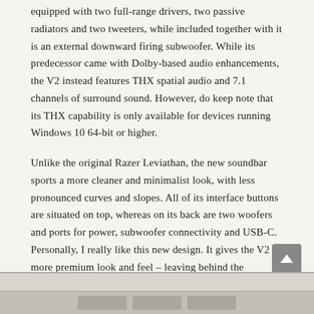equipped with two full-range drivers, two passive radiators and two tweeters, while included together with it is an external downward firing subwoofer. While its predecessor came with Dolby-based audio enhancements, the V2 instead features THX spatial audio and 7.1 channels of surround sound. However, do keep note that its THX capability is only available for devices running Windows 10 64-bit or higher.
Unlike the original Razer Leviathan, the new soundbar sports a more cleaner and minimalist look, with less pronounced curves and slopes. All of its interface buttons are situated on top, whereas on its back are two woofers and ports for power, subwoofer connectivity and USB-C. Personally, I really like this new design. It gives the V2 a more premium look and feel – leaving behind the original's loud aesthetic, but at the same time still maintaining Razer's recognisable design language. This applies to its included subwoofer as well, where it ditches its predecessor's trapezium form for a symmetrical and cleaner cube shape.